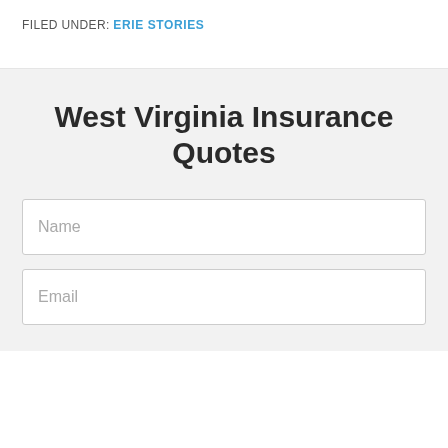FILED UNDER: ERIE STORIES
West Virginia Insurance Quotes
Name
Email